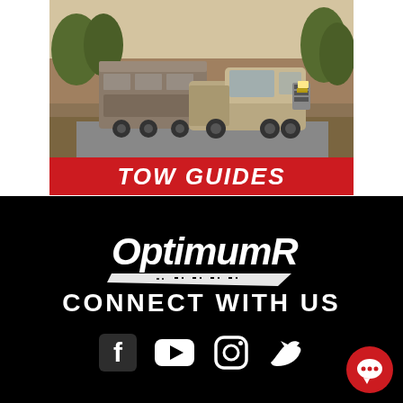[Figure (photo): A brown/tan pickup truck towing a large fifth-wheel RV trailer on a road with trees in the background]
TOW GUIDES
[Figure (logo): OptimumRV logo in white italic font with a road/chevron swoosh graphic beneath]
CONNECT WITH US
[Figure (infographic): Social media icons: Facebook, YouTube, Instagram, Twitter, and a red chat bubble icon]